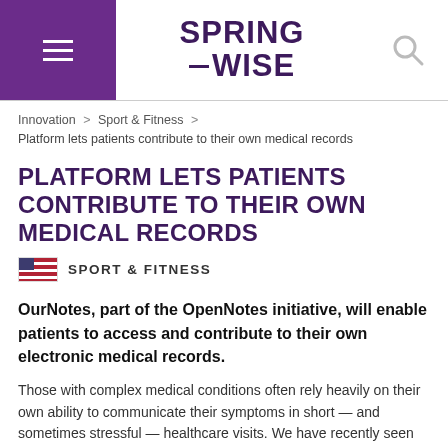SPRINGWISE
Innovation > Sport & Fitness > Platform lets patients contribute to their own medical records
PLATFORM LETS PATIENTS CONTRIBUTE TO THEIR OWN MEDICAL RECORDS
SPORT & FITNESS
OurNotes, part of the OpenNotes initiative, will enable patients to access and contribute to their own electronic medical records.
Those with complex medical conditions often rely heavily on their own ability to communicate their symptoms in short — and sometimes stressful — healthcare visits. We have recently seen Ginger.io, a smartphone app which uses big data to improve communication between patients and